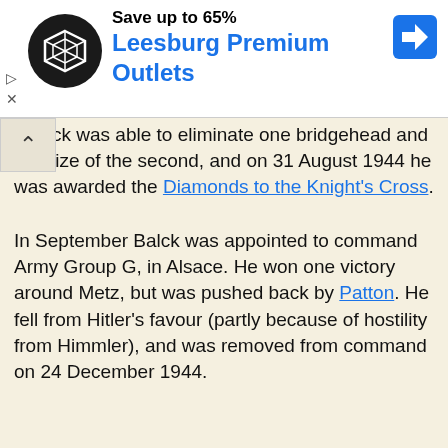[Figure (screenshot): Advertisement banner for Leesburg Premium Outlets with circular black logo, blue text, and navigation arrow icon]
. Balck was able to eliminate one bridgehead and the size of the second, and on 31 August 1944 he was awarded the Diamonds to the Knight's Cross.
In September Balck was appointed to command Army Group G, in Alsace. He won one victory around Metz, but was pushed back by Patton. He fell from Hitler's favour (partly because of hostility from Himmler), and was removed from command on 24 December 1944.
Balck's last appointment was as commander of the 6th Army in Hungary. He was unable to relieve the besieged garrison of Budapest (2 January-7 February 1945), and retreated into Austria, where on 8 May he surrendered to the Americans.
Balck was relased in 1947, but in 1948 was charged with ordering the execution of an artillery officer in 1944, and was sentenced to three years imprisonment. He served eighteen months, and survived until 1982, dying at the age of 89. During his retirement Balck was interviewed by US Army Historians, but didn't produce memoirs.